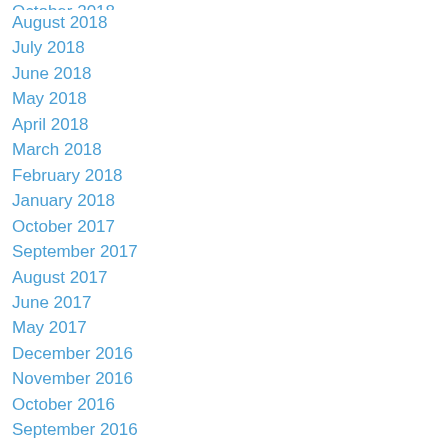October 2018
August 2018
July 2018
June 2018
May 2018
April 2018
March 2018
February 2018
January 2018
October 2017
September 2017
August 2017
June 2017
May 2017
December 2016
November 2016
October 2016
September 2016
August 2016
July 2016
June 2016